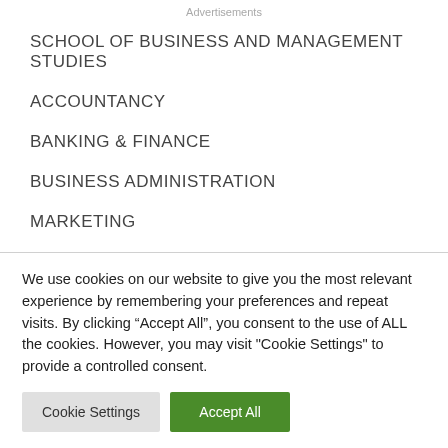Advertisements
SCHOOL OF BUSINESS AND MANAGEMENT STUDIES
ACCOUNTANCY
BANKING & FINANCE
BUSINESS ADMINISTRATION
MARKETING
We use cookies on our website to give you the most relevant experience by remembering your preferences and repeat visits. By clicking “Accept All”, you consent to the use of ALL the cookies. However, you may visit "Cookie Settings" to provide a controlled consent.
Cookie Settings | Accept All